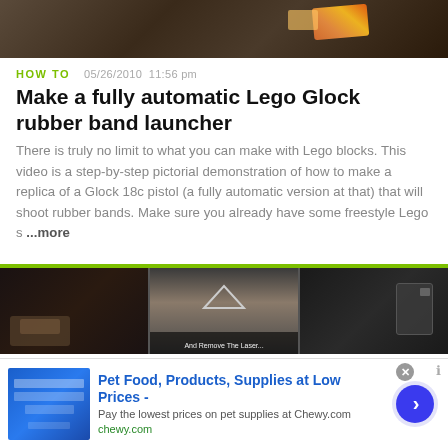[Figure (photo): Top portion of video thumbnail showing Lego pieces on a surface, partially cropped]
HOW TO   05/26/2010  11:56 pm
Make a fully automatic Lego Glock rubber band launcher
There is truly no limit to what you can make with Lego blocks. This video is a step-by-step pictorial demonstration of how to make a replica of a Glock 18c pistol (a fully automatic version at that) that will shoot rubber bands. Make sure you already have some freestyle Lego s ...more
[Figure (photo): Three-panel video thumbnail showing hands working with a gun/laser device with caption 'And Remove The Laser...']
HOW TO   06/30/2008  5:28 pm
Make a Lego Pikachu
[Figure (screenshot): Advertisement banner for Chewy.com - Pet Food, Products, Supplies at Low Prices]